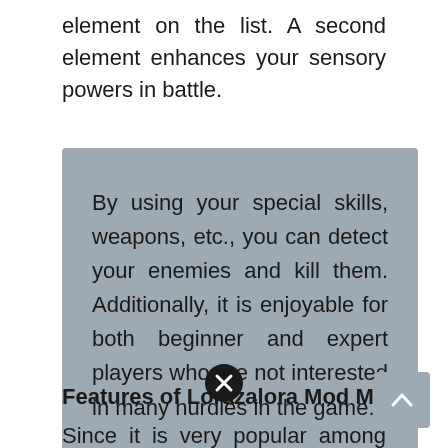element on the list. A second element enhances your sensory powers in battle.
By using your special skills, weapons, etc., you can detect your enemies and kill them. Additionally, it is enjoyable for both beginner and expert players who are not interested in many hurdles in the game.
[Figure (other): Close/dismiss button — black circle with white X icon]
Features of Lorazalora Mod MLBB:
Since it is very popular among gamers, you